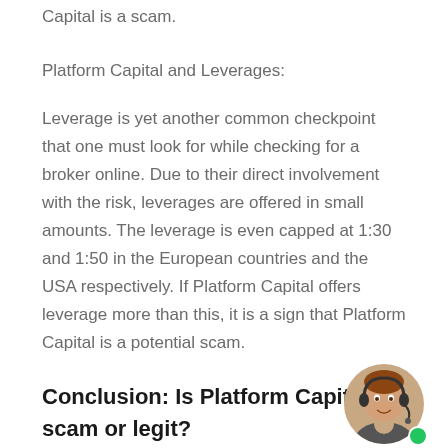Capital is a scam.
Platform Capital and Leverages:
Leverage is yet another common checkpoint that one must look for while checking for a broker online. Due to their direct involvement with the risk, leverages are offered in small amounts. The leverage is even capped at 1:30 and 1:50 in the European countries and the USA respectively. If Platform Capital offers leverage more than this, it is a sign that Platform Capital is a potential scam.
Conclusion: Is Platform Capital scam or legit?
To sum up, all that has been said above, we give
[Figure (photo): Customer support agent photo — a person wearing a headset with a green online status dot]